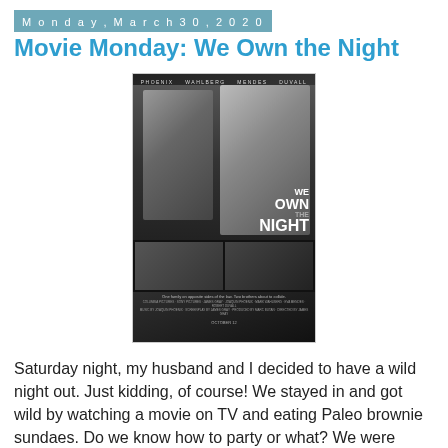Monday, March 30, 2020
Movie Monday: We Own the Night
[Figure (photo): Movie poster for 'We Own the Night' (2007). Black and white poster showing two faces in profile with film title text. Bottom shows two smaller still images from the film. Actor names at top: Phoenix, Wahlberg, Mendes, Duvall.]
Saturday night, my husband and I decided to have a wild night out. Just kidding, of course! We stayed in and got wild by watching a movie on TV and eating Paleo brownie sundaes. Do we know how to party or what? We were looking for a good mystery or thriller, so I was just looking up random movie titles on Amazon and Netflix from our "want-to-watch" list of almost 400 films! We ended up with a crime thriller from 2007, We Own the Night, starring Joaquin Phoenix and Mark Wahlborg. It was dark and suspenseful